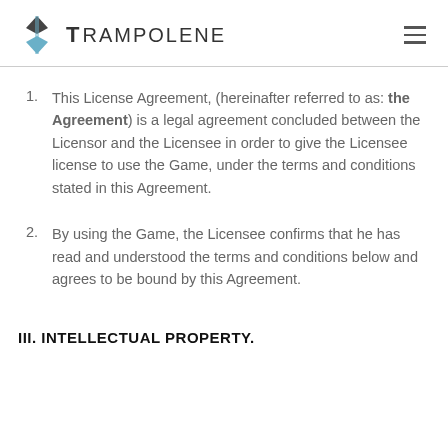TRAMPOLENE
This License Agreement, (hereinafter referred to as: the Agreement) is a legal agreement concluded between the Licensor and the Licensee in order to give the Licensee license to use the Game, under the terms and conditions stated in this Agreement.
By using the Game, the Licensee confirms that he has read and understood the terms and conditions below and agrees to be bound by this Agreement.
III. INTELLECTUAL PROPERTY.